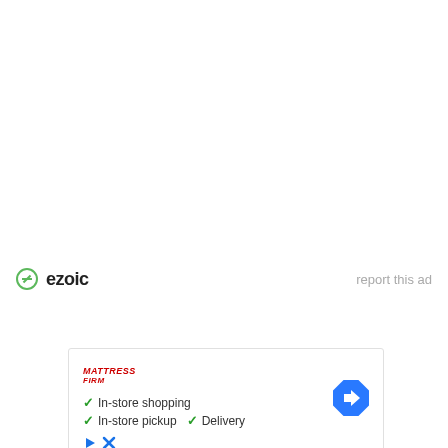[Figure (logo): Ezoic logo with green circle icon and bold 'ezoic' text, with 'report this ad' link on the right]
[Figure (infographic): Mattress Firm advertisement showing logo, checkmarks for In-store shopping, In-store pickup, Delivery, and a blue navigation arrow icon]